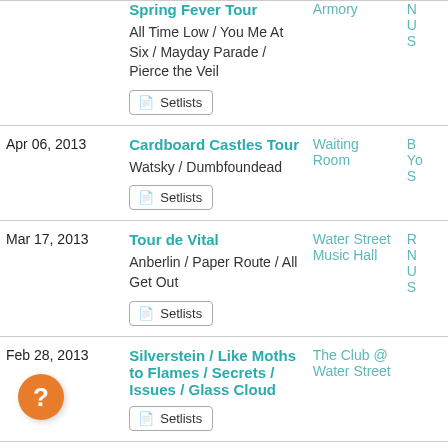| Date | Event | Venue | Extra |
| --- | --- | --- | --- |
|  | Spring Fever Tour
All Time Low / You Me At Six / Mayday Parade / Pierce the Veil
Setlists | Armory | N U S |
| Apr 06, 2013 | Cardboard Castles Tour
Watsky / Dumbfoundead
Setlists | Waiting Room | B Yo S |
| Mar 17, 2013 | Tour de Vital
Anberlin / Paper Route / All Get Out
Setlists | Water Street Music Hall | R N U S |
| Feb 28, 2013 | Silverstein / Like Moths to Flames / Secrets / Issues / Glass Cloud
Setlists | The Club @ Water Street |  |
| Feb 18, 2013 | Passion Pit / Matt and | Main Street | R |